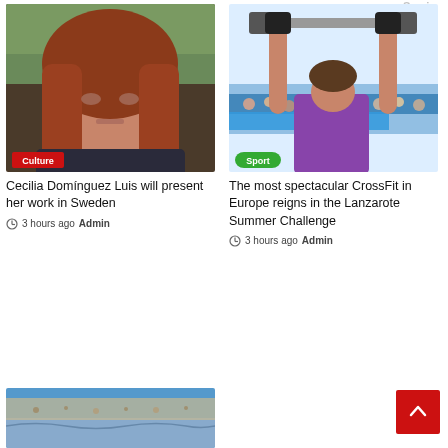[Figure (photo): Portrait photo of a woman with auburn hair, outdoor background, with a red 'Culture' badge in the lower left corner]
[Figure (photo): Woman in purple shirt lifting a barbell overhead at an outdoor CrossFit event, crowd in background, with a green 'Sport' badge in the lower left corner]
Cecilia Domínguez Luis will present her work in Sweden
3 hours ago Admin
The most spectacular CrossFit in Europe reigns in the Lanzarote Summer Challenge
3 hours ago Admin
[Figure (photo): Aerial view of a crowded beach or coastal scene]